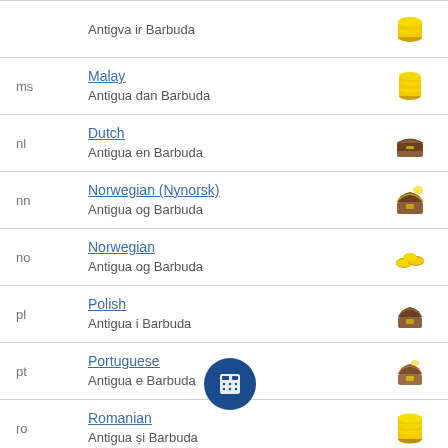Antigva ir Barbuda
ms | Malay | Antigua dan Barbuda
nl | Dutch | Antigua en Barbuda
nn | Norwegian (Nynorsk) | Antigua og Barbuda
no | Norwegian | Antigua og Barbuda
pl | Polish | Antigua i Barbuda
pt | Portuguese | Antigua e Barbuda
ro | Romanian | Antigua și Barbuda
ru | Russian | Антигуа и Барбуда